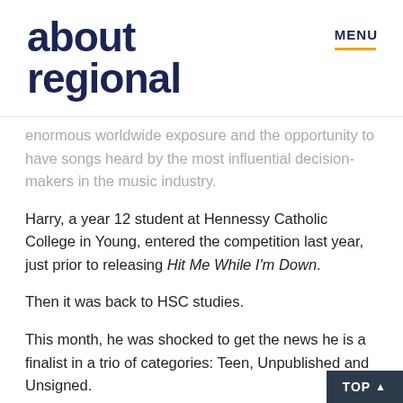about regional | MENU
enormous worldwide exposure and the opportunity to have songs heard by the most influential decision-makers in the music industry.
Harry, a year 12 student at Hennessy Catholic College in Young, entered the competition last year, just prior to releasing Hit Me While I'm Down.
Then it was back to HSC studies.
This month, he was shocked to get the news he is a finalist in a trio of categories: Teen, Unpublished and Unsigned.